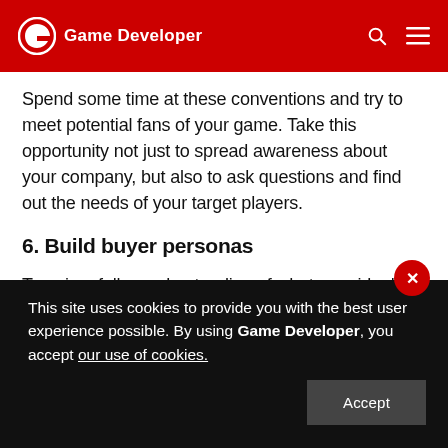Game Developer
Spend some time at these conventions and try to meet potential fans of your game. Take this opportunity not just to spread awareness about your company, but also to ask questions and find out the needs of your target players.
6. Build buyer personas
To gain a fuller understanding of what your ideal player looks like, spend some time building buyer personas.
This site uses cookies to provide you with the best user experience possible. By using Game Developer, you accept our use of cookies.